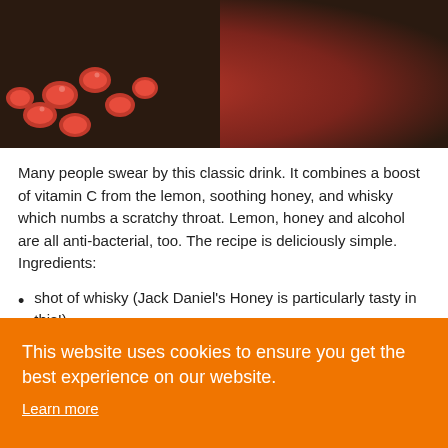[Figure (photo): Photo of red berries/rose hips on a dark wooden surface with a dark background, partially cropped at top]
Many people swear by this classic drink. It combines a boost of vitamin C from the lemon, soothing honey, and whisky which numbs a scratchy throat. Lemon, honey and alcohol are all anti-bacterial, too. The recipe is deliciously simple. Ingredients:
shot of whisky (Jack Daniel's Honey is particularly tasty in this!)
This website uses cookies to ensure you get the best experience on our website.
Learn more
Got it!